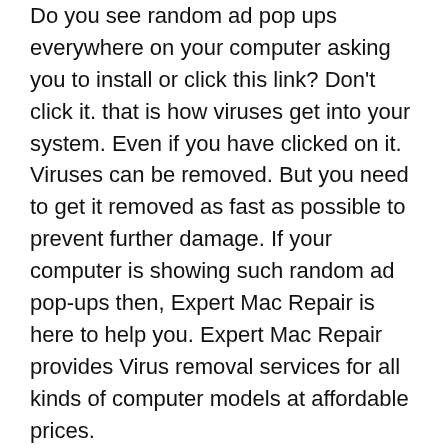Do you see random ad pop ups everywhere on your computer asking you to install or click this link? Don't click it. that is how viruses get into your system. Even if you have clicked on it. Viruses can be removed. But you need to get it removed as fast as possible to prevent further damage. If your computer is showing such random ad pop-ups then, Expert Mac Repair is here to help you. Expert Mac Repair provides Virus removal services for all kinds of computer models at affordable prices.
Slow Computer Virus Removal service
Are you tired of working with a slow